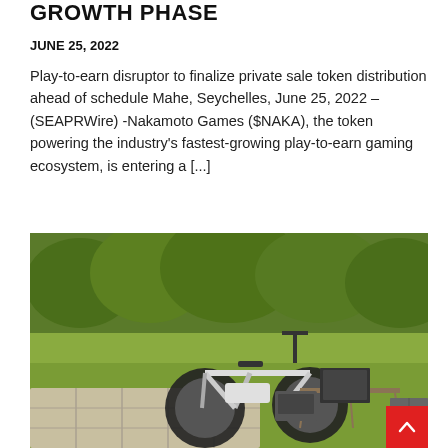GROWTH PHASE
JUNE 25, 2022
Play-to-earn disruptor to finalize private sale token distribution ahead of schedule Mahe, Seychelles, June 25, 2022 – (SEAPRWire) -Nakamoto Games ($NAKA), the token powering the industry's fastest-growing play-to-earn gaming ecosystem, is entering a [...]
[Figure (photo): An electric fat-tire bicycle parked outdoors on grass next to a folding table with a laptop and portable power station, with a large solar panel in the foreground and trees in the background. A red scroll-to-top button is visible in the bottom-right corner.]